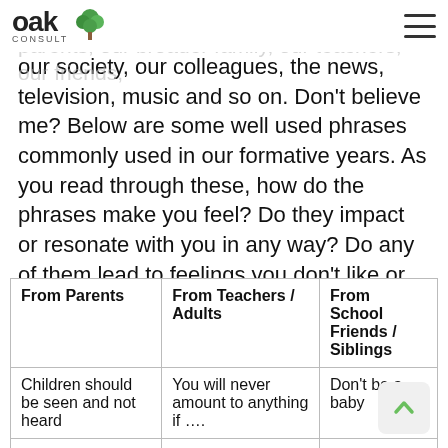Oak Consult
over, our environment influences us – our parents, our broader family, our teachers, our friends, our society, our colleagues, the news, television, music and so on. Don't believe me? Below are some well used phrases commonly used in our formative years. As you read through these, how do the phrases make you feel? Do they impact or resonate with you in any way? Do any of them lead to feelings you don't like or stir deep-rooted or forgotten memories?
| From Parents | From Teachers / Adults | From School Friends / Siblings |
| --- | --- | --- |
| Children should be seen and not heard | You will never amount to anything if …. | Don't be a baby |
|  | It's really tough to |  |